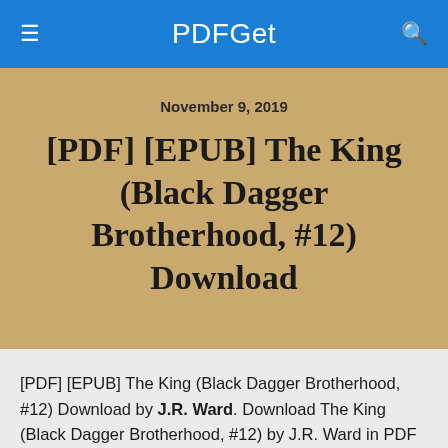PDFGet
November 9, 2019
[PDF] [EPUB] The King (Black Dagger Brotherhood, #12) Download
[PDF] [EPUB] The King (Black Dagger Brotherhood, #12) Download by J.R. Ward. Download The King (Black Dagger Brotherhood, #12) by J.R. Ward in PDF EPUB format complete free.